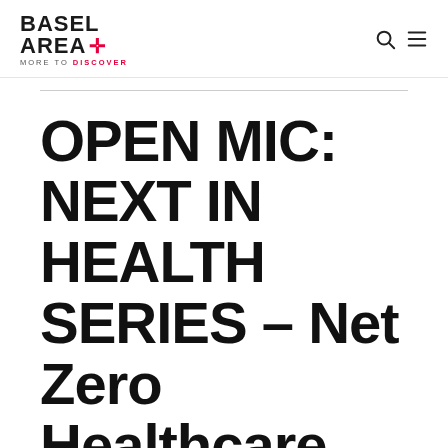BASEL AREA+ MORE TO DISCOVER
OPEN MIC: NEXT IN HEALTH SERIES – Net Zero Healthcare